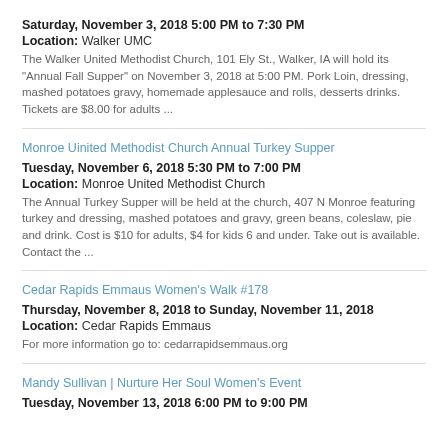Saturday, November 3, 2018 5:00 PM to 7:30 PM
Location: Walker UMC
The Walker United Methodist Church, 101 Ely St., Walker, IA will hold its "Annual Fall Supper" on November 3, 2018 at 5:00 PM. Pork Loin, dressing, mashed potatoes gravy, homemade applesauce and rolls, desserts drinks. Tickets are $8.00 for adults ...
Monroe Uinited Methodist Church Annual Turkey Supper
Tuesday, November 6, 2018 5:30 PM to 7:00 PM
Location: Monroe United Methodist Church
The Annual Turkey Supper will be held at the church, 407 N Monroe featuring turkey and dressing, mashed potatoes and gravy, green beans, coleslaw, pie and drink. Cost is $10 for adults, $4 for kids 6 and under. Take out is available. Contact the ...
Cedar Rapids Emmaus Women's Walk #178
Thursday, November 8, 2018 to Sunday, November 11, 2018
Location: Cedar Rapids Emmaus
For more information go to: cedarrapidsemmaus.org
Mandy Sullivan | Nurture Her Soul Women's Event
Tuesday, November 13, 2018 6:00 PM to 9:00 PM